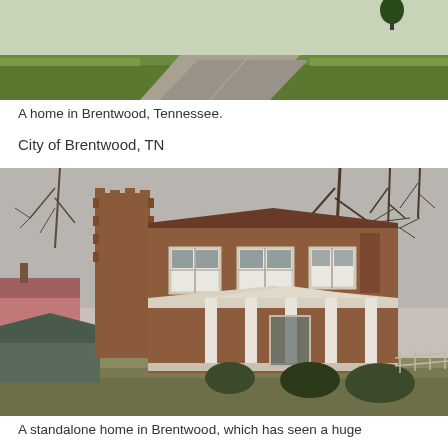[Figure (photo): Top portion of a photo showing a road/driveway and green lawn area, partial view of a home in Brentwood, Tennessee]
A home in Brentwood, Tennessee.
City of Brentwood, TN
[Figure (photo): A standalone home in Brentwood — a large two-story brick colonial/Georgian style house with white columns on the front porch, tall chimney on the left side, bare winter trees in background, smaller outbuildings visible to the left]
A standalone home in Brentwood, which has seen a huge